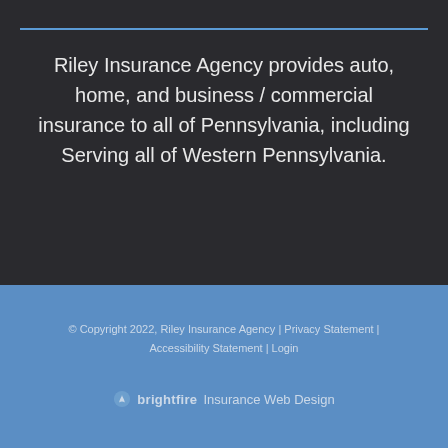Riley Insurance Agency provides auto, home, and business / commercial insurance to all of Pennsylvania, including Serving all of Western Pennsylvania.
© Copyright 2022, Riley Insurance Agency | Privacy Statement | Accessibility Statement | Login
[Figure (logo): Brightfire logo with text 'brightfire' and tagline 'Insurance Web Design']